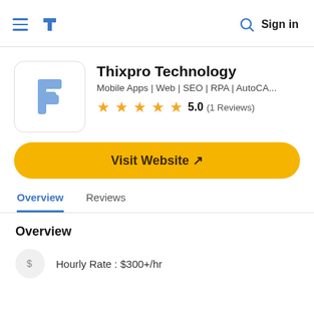Thixpro Technology listing page header with hamburger menu, logo, search icon, and Sign in
Thixpro Technology
Mobile Apps | Web | SEO | RPA | AutoCA...
5.0 (1 Reviews)
Visit Website ↗
Overview
Reviews
Overview
Hourly Rate : $300+/hr